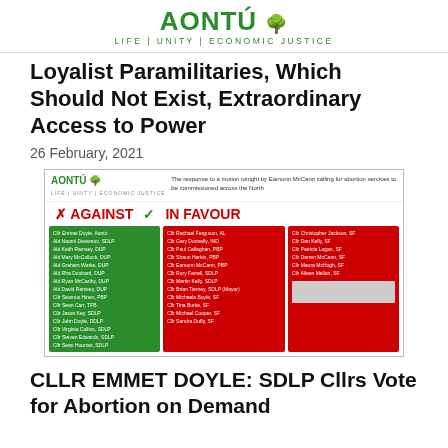AONTÚ — LIFE | UNITY | ECONOMIC JUSTICE
Loyalist Paramilitaries, Which Should Not Exist, Extraordinary Access to Power
26 February, 2021
[Figure (infographic): Aontú voting chart showing councillors voting Against (green column) and In Favour (red columns) of a motion on abortion services commissioned across the North.]
CLLR EMMET DOYLE: SDLP Cllrs Vote for Abortion on Demand